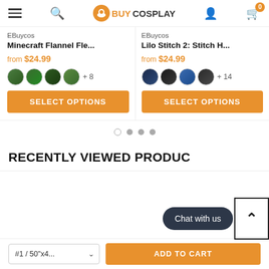EBuy Cosplay navigation bar with menu, search, logo, user icon, cart (0)
EBuycos
Minecraft Flannel Fle...
from $24.99
EBuycos
Lilo Stitch 2: Stitch H...
from $24.99
+ 8
+ 14
SELECT OPTIONS
SELECT OPTIONS
RECENTLY VIEWED PRODUC
Chat with us
#1 / 50"x4...
ADD TO CART